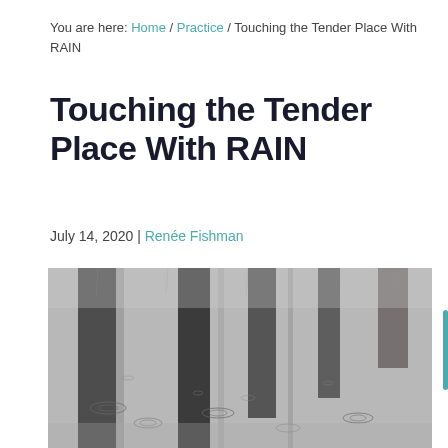You are here: Home / Practice / Touching the Tender Place With RAIN
Touching the Tender Place With RAIN
July 14, 2020 | Renée Fishman
[Figure (photo): Rainy street scene showing ripples on wet pavement with dark reflections of trees or people, grayscale/monochrome tones]